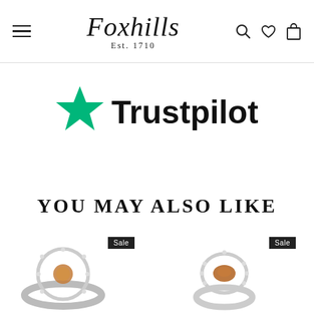Foxhills Est. 1710
[Figure (logo): Trustpilot logo with green star and black text 'Trustpilot']
YOU MAY ALSO LIKE
[Figure (photo): Jewelry ring with diamonds and orange gemstone, Sale badge]
[Figure (photo): Jewelry ring with oval orange gemstone and diamond halo, Sale badge]